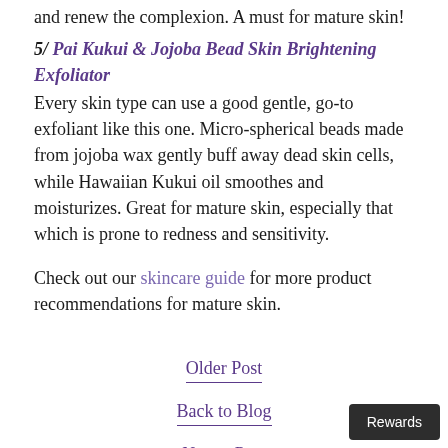and renew the complexion. A must for mature skin!
5/ Pai Kukui & Jojoba Bead Skin Brightening Exfoliator
Every skin type can use a good gentle, go-to exfoliant like this one. Micro-spherical beads made from jojoba wax gently buff away dead skin cells, while Hawaiian Kukui oil smoothes and moisturizes. Great for mature skin, especially that which is prone to redness and sensitivity.
Check out our skincare guide for more product recommendations for mature skin.
Older Post
Back to Blog
Newer Post
Rewards